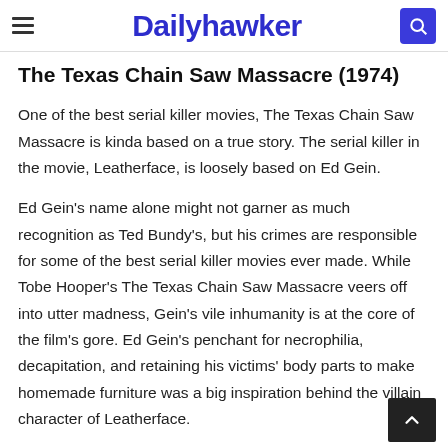Dailyhawker
The Texas Chain Saw Massacre (1974)
One of the best serial killer movies, The Texas Chain Saw Massacre is kinda based on a true story. The serial killer in the movie, Leatherface, is loosely based on Ed Gein.
Ed Gein's name alone might not garner as much recognition as Ted Bundy's, but his crimes are responsible for some of the best serial killer movies ever made. While Tobe Hooper's The Texas Chain Saw Massacre veers off into utter madness, Gein's vile inhumanity is at the core of the film's gore. Ed Gein's penchant for necrophilia, decapitation, and retaining his victims' body parts to make homemade furniture was a big inspiration behind the villain character of Leatherface.